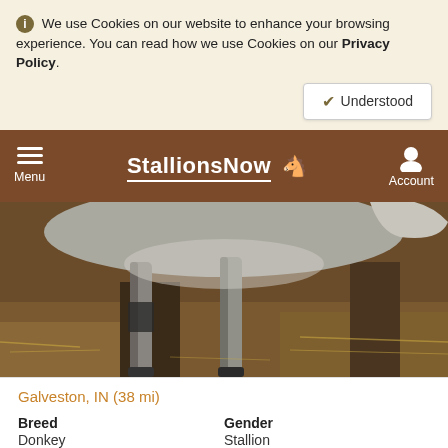We use Cookies on our website to enhance your browsing experience. You can read how we use Cookies on our Privacy Policy.
StallionsNow — Menu | Account
[Figure (photo): Close-up photo of a donkey's legs and underbelly standing on hay/straw in a barn setting. The donkey appears to be gray/brown colored.]
Galveston, IN (38 mi)
| Field | Value |
| --- | --- |
| Breed | Donkey |
| Gender | Stallion |
| Color | Brown |
| Height (hh) | 8.1 |
To be truncated at bottom...